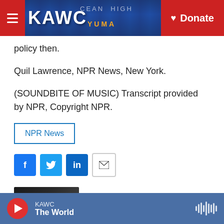KAWC | Donate
policy then.
Quil Lawrence, NPR News, New York.
(SOUNDBITE OF MUSIC) Transcript provided by NPR, Copyright NPR.
NPR News
[Figure (other): Social share buttons: Facebook, Twitter, LinkedIn, Email]
[Figure (photo): Author photo of Quil Lawrence, dark background headshot]
Quil Lawrence
KAWC The World